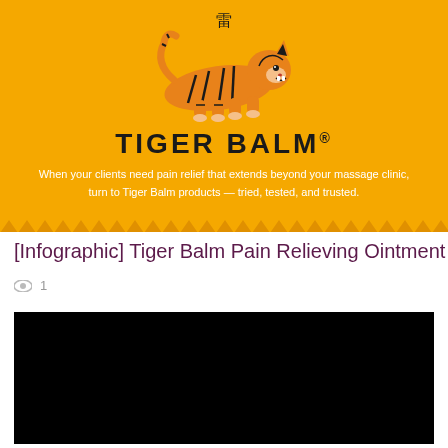[Figure (logo): Tiger Balm banner with orange background, tiger illustration, TIGER BALM brand name, and tagline text: When your clients need pain relief that extends beyond your massage clinic, turn to Tiger Balm products — tried, tested, and trusted.]
[Infographic] Tiger Balm Pain Relieving Ointment
1
[Figure (infographic): Black rectangle representing an infographic area about Tiger Balm Pain Relieving Ointment]